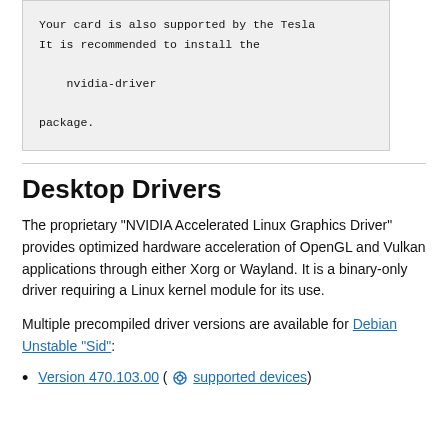Your card is also supported by the Tesla...
It is recommended to install the
    nvidia-driver
package.
Desktop Drivers
The proprietary "NVIDIA Accelerated Linux Graphics Driver" provides optimized hardware acceleration of OpenGL and Vulkan applications through either Xorg or Wayland. It is a binary-only driver requiring a Linux kernel module for its use.
Multiple precompiled driver versions are available for Debian Unstable "Sid":
Version 470.103.00 ( supported devices)